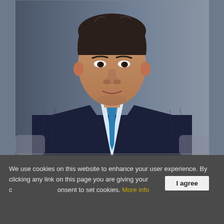[Figure (photo): Professional headshot of an East Asian man in a dark navy pinstripe suit with a blue tie, white dress shirt, seated against a blue-grey background. He has dark hair and is looking slightly off-camera with a neutral expression.]
We use cookies on this website to enhance your user experience. By clicking any link on this page you are giving your consent to set cookies. More info